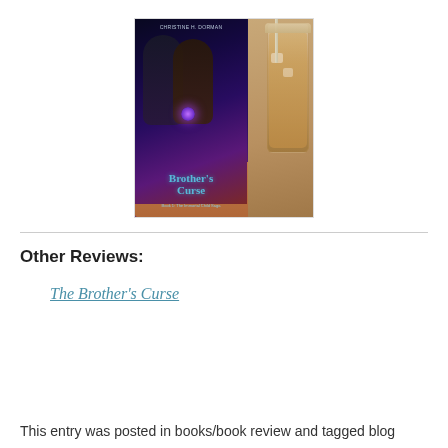[Figure (photo): A hand holding the book 'The Brother's Curse' by Christine H. Dorman alongside an iced drink, placed on a wooden table surface.]
Other Reviews:
The Brother's Curse
This entry was posted in books/book review and tagged blog